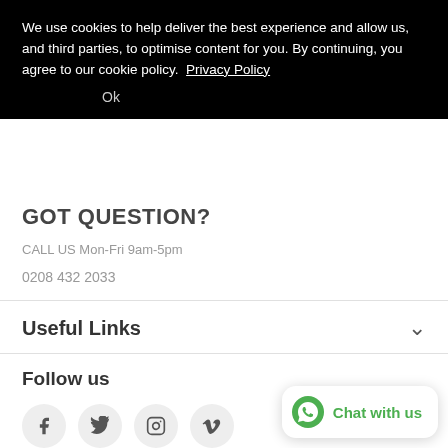We use cookies to help deliver the best experience and allow us, and third parties, to optimise content for you. By continuing, you agree to our cookie policy. Privacy Policy
Ok
GOT QUESTION?
CALL US Mon-Fri 9am-5pm
0208 432 2033
Useful Links
Follow us
[Figure (other): Social media icons: Facebook, Twitter, Instagram, Vimeo]
Subscribe
[Figure (other): WhatsApp Chat with us widget button]